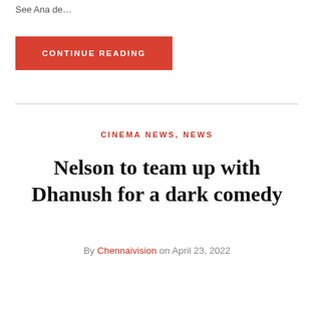See Ana de…
CONTINUE READING
CINEMA NEWS, NEWS
Nelson to team up with Dhanush for a dark comedy
By Chennaivision on April 23, 2022